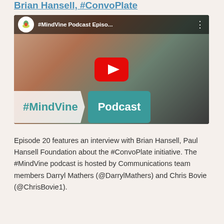Brian Hansell, #ConvoPlate
[Figure (screenshot): YouTube video thumbnail for #MindVine Podcast Episode featuring the Ontario Shores logo, two women writing at a table, YouTube play button, and #MindVine Podcast branding banner at the bottom]
Episode 20 features an interview with Brian Hansell, Paul Hansell Foundation about the #ConvoPlate initiative. The #MindVine podcast is hosted by Communications team members Darryl Mathers (@DarrylMathers) and Chris Bovie (@ChrisBovie1).